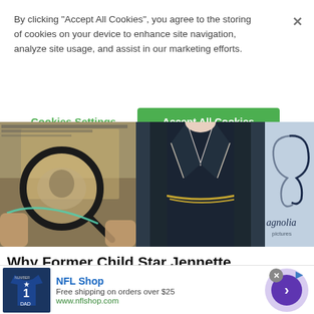By clicking “Accept All Cookies”, you agree to the storing of cookies on your device to enhance site navigation, analyze site usage, and assist in our marketing efforts.
Cookies Settings
Accept All Cookies
[Figure (photo): Left panel: hand holding a magnifying glass over an old photograph showing a dog or animal. Center panel: person wearing a dark navy wrap dress with gold chain belt at a red carpet event. Right panel: partial Magnolia Pictures logo on light blue background.]
Why Former Child Star Jennette McCurdy’s Memoir “I’m Glad My Mom Died” Is Making Headlines
theSkimm
[Figure (screenshot): Advertisement banner for NFL Shop. Shows a Dallas Cowboys jersey on the left, text reading 'NFL Shop', 'Free shipping on orders over $25', 'www.nflshop.com', and a purple arrow button on the right.]